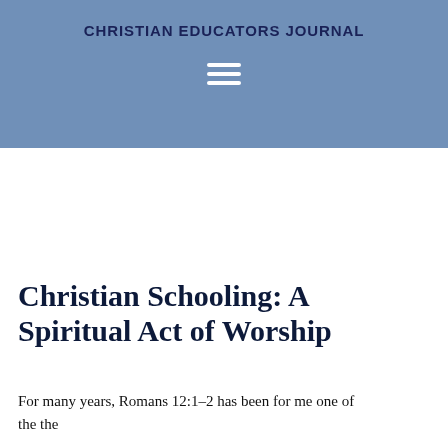CHRISTIAN EDUCATORS JOURNAL
Christian Schooling: A Spiritual Act of Worship
For many years, Romans 12:1–2 has been for me one of the the…